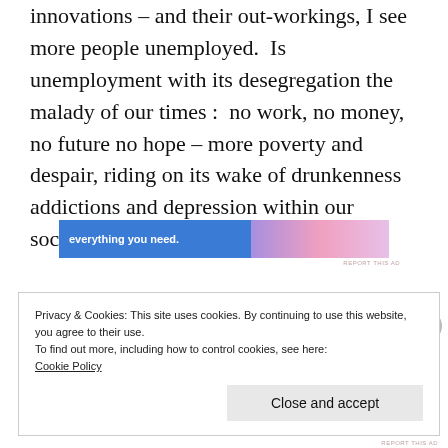innovations – and their out-workings, I see more people unemployed.  Is unemployment with its desegregation the malady of our times :  no work, no money, no future no hope – more poverty and despair, riding on its wake of drunkenness addictions and depression within our societies ?
[Figure (other): Advertisement banner reading 'everything you need.' with blue background on left and pink/purple gradient on right]
Privacy & Cookies: This site uses cookies. By continuing to use this website, you agree to their use.
To find out more, including how to control cookies, see here:
Cookie Policy
Close and accept